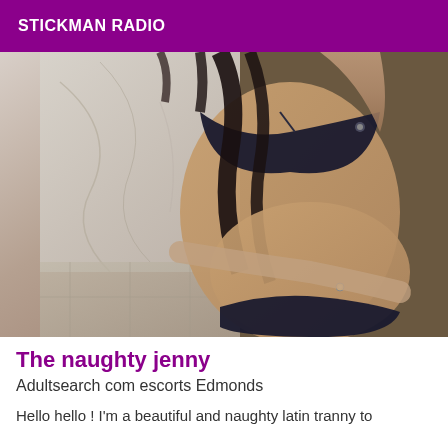STICKMAN RADIO
[Figure (photo): A woman in a dark bikini posing against a marble wall background]
The naughty jenny
Adultsearch com escorts Edmonds
Hello hello ! I'm a beautiful and naughty latin tranny to